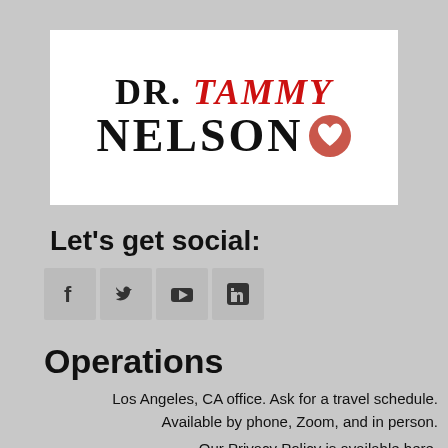[Figure (logo): Dr. Tammy Nelson logo with red heart symbol]
Let's get social:
[Figure (infographic): Social media icons: Facebook, Twitter, YouTube, LinkedIn]
Operations
Los Angeles, CA office. Ask for a travel schedule. Available by phone, Zoom, and in person.
Our Privacy Policy is available here.
Let's get social: